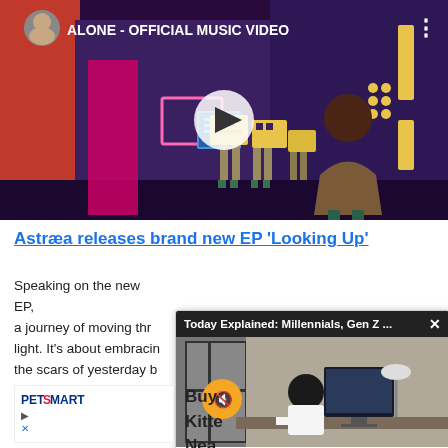[Figure (screenshot): YouTube-style music video thumbnail for 'ALONE - OFFICIAL MUSIC VIDEO' showing an animated night-city scene with cartoon characters, one with a box for a head, and a play button overlay]
Astræa releases brand new EP 'Looking Up'
Speaking on the new EP, [text continues] a journey of moving through [text continues] light. It's about embracin[g] the scars of yesterday b[ut] we are [text continues] from m[y] and I'm [text continues]
[Figure (screenshot): Popup video overlay titled 'Today Explained: Millennials, Gen Z ...' with a muted video showing a person sitting at a computer desk in an office]